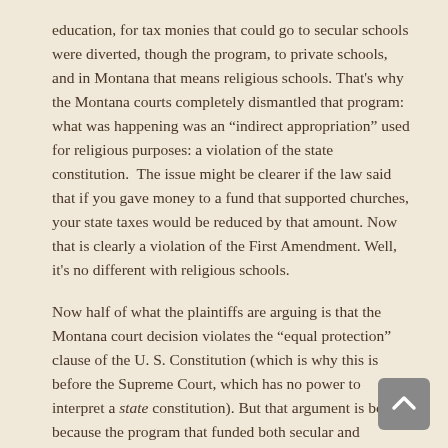education, for tax monies that could go to secular schools were diverted, though the program, to private schools, and in Montana that means religious schools. That's why the Montana courts completely dismantled that program: what was happening was an "indirect appropriation" used for religious purposes: a violation of the state constitution.  The issue might be clearer if the law said that if you gave money to a fund that supported churches, your state taxes would be reduced by that amount. Now that is clearly a violation of the First Amendment. Well, it's no different with religious schools.
Now half of what the plaintiffs are arguing is that the Montana court decision violates the "equal protection" clause of the U. S. Constitution (which is why this is before the Supreme Court, which has no power to interpret a state constitution). But that argument is bogus because the program that funded both secular and religious schools was eliminated by the state. So the issue of protection has disappeared. If the Supreme Court had its wits about it, it would reject this contention. But many people think that conservatives on the court will accept any argument to further religion.